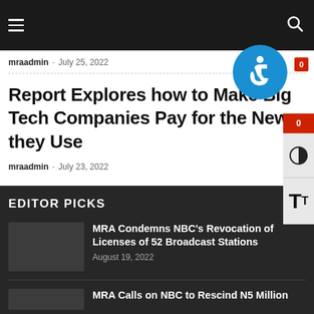mraadmin · July 25, 2022
Report Explores how to Make Big Tech Companies Pay for the News they Use
mraadmin · July 23, 2022
EDITOR PICKS
MRA Condemns NBC's Revocation of Licenses of 52 Broadcast Stations
August 19, 2022
MRA Calls on NBC to Rescind N5 Million